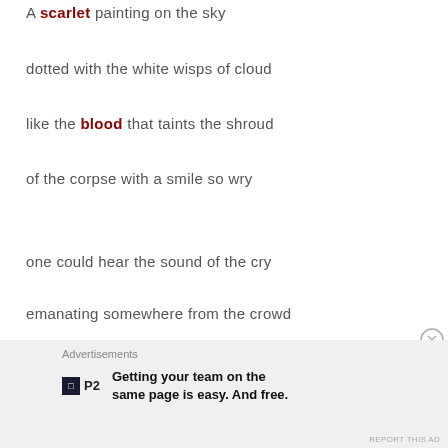A scarlet painting on the sky
dotted with the white wisps of cloud
like the blood that taints the shroud
of the corpse with a smile so wry
one could hear the sound of the cry
emanating somewhere from the crowd
dotted with the white wisps of cloud
Advertisements
Getting your team on the same page is easy. And free.